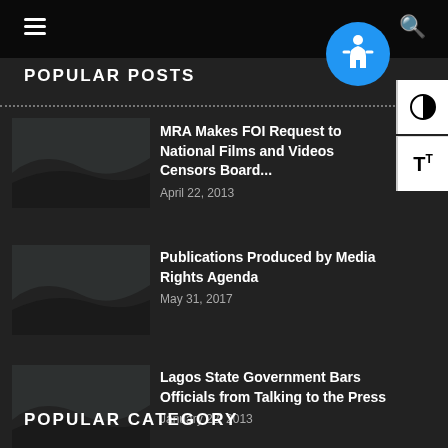POPULAR POSTS
MRA Makes FOI Request to National Films and Videos Censors Board...
April 22, 2013
Publications Produced by Media Rights Agenda
May 31, 2017
Lagos State Government Bars Officials from Talking to the Press
January 22, 2013
POPULAR CATEGORY